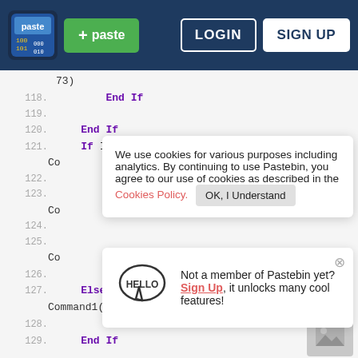[Figure (screenshot): Pastebin website header with logo, paste button, login and sign up buttons on dark blue background]
Code viewer showing lines 118-129 of Visual Basic code including End If, If Int(shead / 19) > Int(apple / 19) And, ElseIf, sdir = -1, sdir = 1 statements
Cookie notice banner: We use cookies for various purposes including analytics. By continuing to use Pastebin, you agree to our use of cookies as described in the Cookies Policy. OK, I Understand
Sign up popup: Not a member of Pastebin yet? Sign Up, it unlocks many cool features!